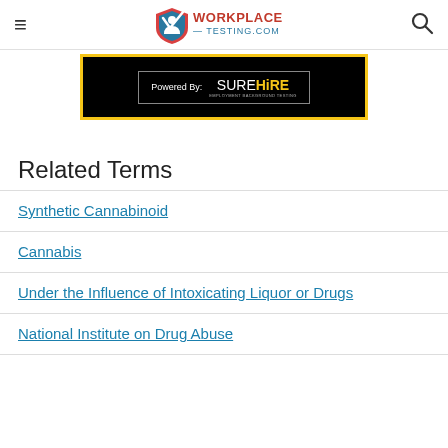WorkplaceTesting.com
[Figure (logo): WorkplaceTesting.com logo with shield/person icon in red/blue and brand name in teal/red]
[Figure (screenshot): Black banner with yellow border showing 'Powered By: SUREHIRE' branding]
Related Terms
Synthetic Cannabinoid
Cannabis
Under the Influence of Intoxicating Liquor or Drugs
National Institute on Drug Abuse